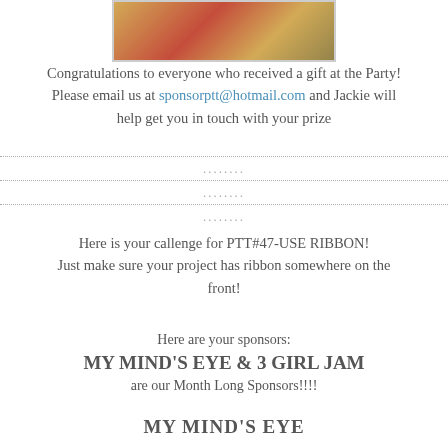[Figure (photo): Partial image at top showing decorative/craft items with gold and red tones]
Congratulations to everyone who received a gift at the Party! Please email us at sponsorptt@hotmail.com and Jackie will help get you in touch with your prize
........
........
........
Here is your callenge for PTT#47-USE RIBBON! Just make sure your project has ribbon somewhere on the front!
Here are your sponsors:
MY MIND'S EYE & 3 GIRL JAM are our Month Long Sponsors!!!!
MY MIND'S EYE